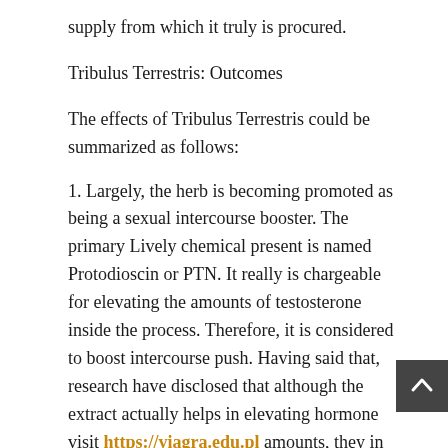supply from which it truly is procured.
Tribulus Terrestris: Outcomes
The effects of Tribulus Terrestris could be summarized as follows:
1. Largely, the herb is becoming promoted as being a sexual intercourse booster. The primary Lively chemical present is named Protodioscin or PTN. It really is chargeable for elevating the amounts of testosterone inside the process. Therefore, it is considered to boost intercourse push. Having said that, research have disclosed that although the extract actually helps in elevating hormone visit https://viagra.edu.pl amounts, they in essen stay inside the normal assortment usually. Thus